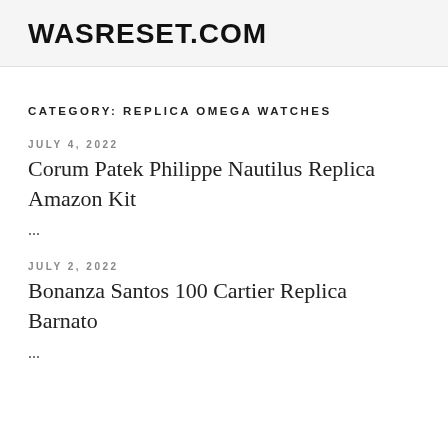WASRESET.COM
CATEGORY: REPLICA OMEGA WATCHES
JULY 4, 2022
Corum Patek Philippe Nautilus Replica Amazon Kit
...
JULY 2, 2022
Bonanza Santos 100 Cartier Replica Barnato
...